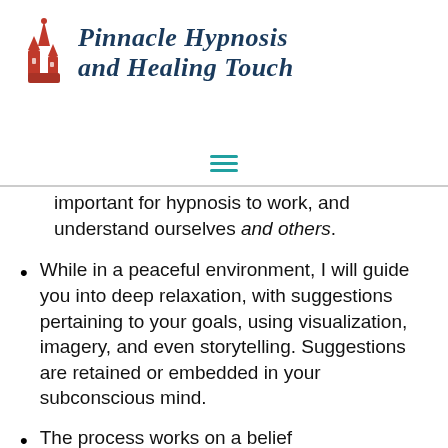[Figure (logo): Pinnacle Hypnosis and Healing Touch logo with red pointed hat/tower icon and italic dark blue script text]
We will discuss goals, with all information kept confidential. I will also teach you which sense to use to process and learn. For example, are you more visual (seeing), auditory (hearing), or kinesthetic (feeling). This is important for hypnosis to work, and understand ourselves and others.
While in a peaceful environment, I will guide you into deep relaxation, with suggestions pertaining to your goals, using visualization, imagery, and even storytelling. Suggestions are retained or embedded in your subconscious mind.
The process works on a belief